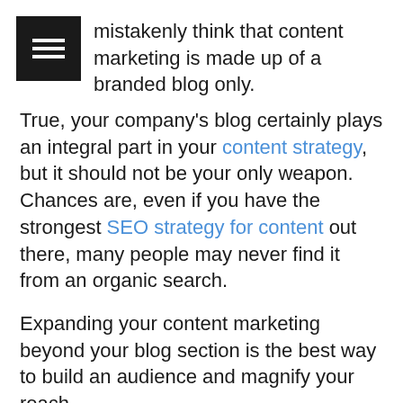mistakenly think that content marketing is made up of a branded blog only.
True, your company's blog certainly plays an integral part in your content strategy, but it should not be your only weapon. Chances are, even if you have the strongest SEO strategy for content out there, many people may never find it from an organic search.
Expanding your content marketing beyond your blog section is the best way to build an audience and magnify your reach.
Here are four easy ways to do it.